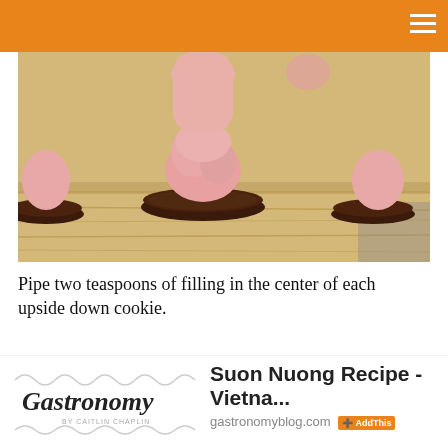[Figure (photo): Close-up photo of chocolate cookies on a wooden cutting board with pink filling being piped onto each upside-down cookie]
Pipe two teaspoons of filling in the center of each upside down cookie.
[Figure (illustration): Gastronomy blog widget illustration showing kitchen utensils and food items in a decorative line drawing style, with text 'Also delicious on Gastronomy...']
[Figure (logo): Gastronomy by Caitlin Chaplin logo with decorative script text and wavy lines]
Suon Nuong Recipe - Vietna...
gastronomyblog.com